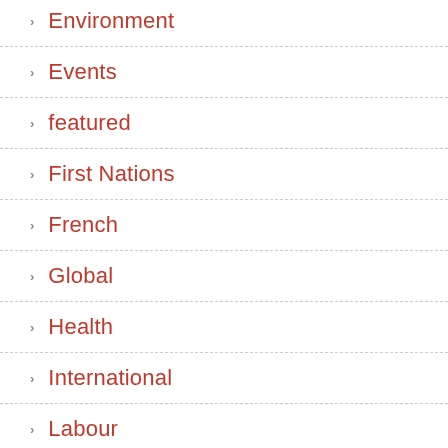Environment
Events
featured
First Nations
French
Global
Health
International
Labour
LGBT